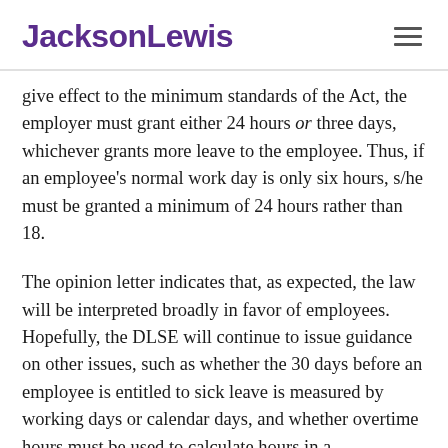JacksonLewis
give effect to the minimum standards of the Act, the employer must grant either 24 hours or three days, whichever grants more leave to the employee. Thus, if an employee's normal work day is only six hours, s/he must be granted a minimum of 24 hours rather than 18.
The opinion letter indicates that, as expected, the law will be interpreted broadly in favor of employees. Hopefully, the DLSE will continue to issue guidance on other issues, such as whether the 30 days before an employee is entitled to sick leave is measured by working days or calendar days, and whether overtime hours must be used to calculate hours in a